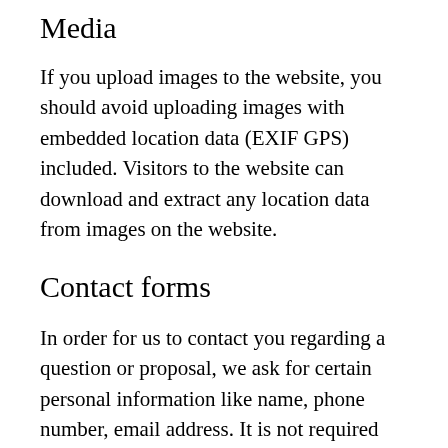Media
If you upload images to the website, you should avoid uploading images with embedded location data (EXIF GPS) included. Visitors to the website can download and extract any location data from images on the website.
Contact forms
In order for us to contact you regarding a question or proposal, we ask for certain personal information like name, phone number, email address. It is not required that you give us this data however, it might hinder our ability to